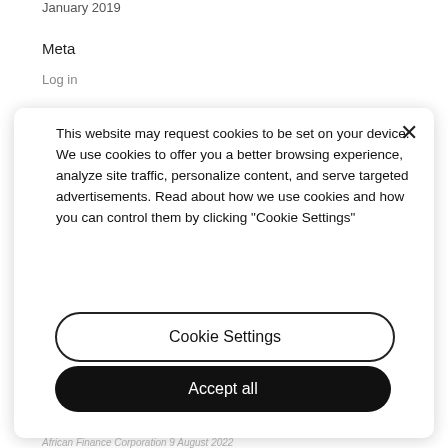January 2019
Meta
Log in
This website may request cookies to be set on your device. We use cookies to offer you a better browsing experience, analyze site traffic, personalize content, and serve targeted advertisements. Read about how we use cookies and how you can control them by clicking "Cookie Settings"
Cookie Settings
Accept all
African Finance Corporation 9 August 2022